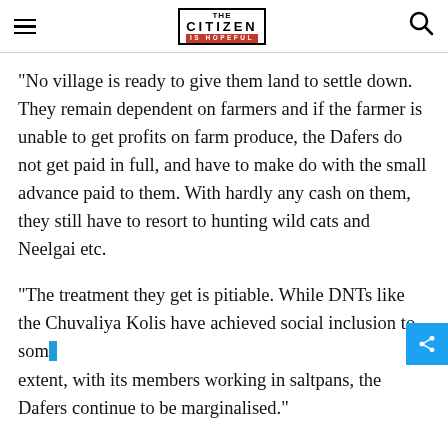THE CITIZEN IS HOPEFUL
“No village is ready to give them land to settle down. They remain dependent on farmers and if the farmer is unable to get profits on farm produce, the Dafers do not get paid in full, and have to make do with the small advance paid to them. With hardly any cash on them, they still have to resort to hunting wild cats and Neelgai etc.
“The treatment they get is pitiable. While DNTs like the Chuvaliya Kolis have achieved social inclusion to some extent, with its members working in saltpans, the Dafers continue to be marginalised.”